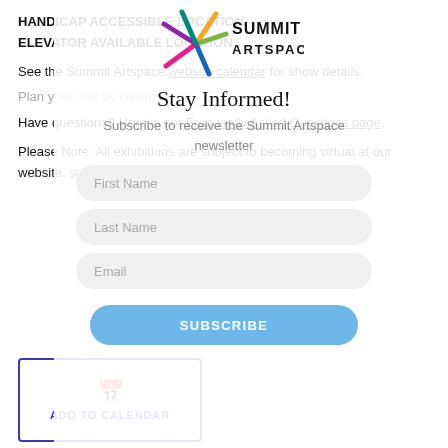HANDICAP ACCESSIBLE LOCATION. ELEVATOR AVAILABLE LOCATION.
See the Summit Artspace website calendar for show details.
Plan your visit by clicking here.
Have questions? Here is our Frequently Asked Questions page.
Please Note: All exhibitions are subject to becoming virtual at our website, summitartspace.org, due to the global pandemic.
[Figure (logo): Summit Artspace logo with colorful asterisk/star icon and text SUMMIT ARTSPACE]
Stay Informed!
Subscribe to receive the Summit Artspace newsletter
First Name
Last Name
Email
SUBSCRIBE